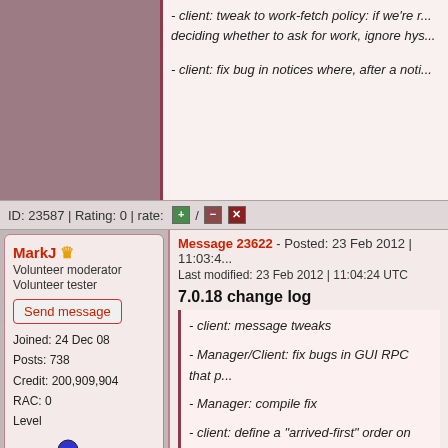- client: tweak to work-fetch policy: if we're r... deciding whether to ask for work, ignore hys...
- client: fix bug in notices where, after a noti...
ID: 23587 | Rating: 0 | rate: + / - x
MarkJ
Volunteer moderator
Volunteer tester
Send message
Joined: 24 Dec 08
Posts: 738
Credit: 200,909,904
RAC: 0
Level
[Figure (illustration): Leucine molecule 3D ball-and-stick model with 'Leu' label]
Scientific publications
[Figure (illustration): Row of publication badge icons: red and green circular icons]
Message 23622 - Posted: 23 Feb 2012 | 11:03:4...
Last modified: 23 Feb 2012 | 11:04:24 UTC
7.0.18 change log
- client: message tweaks
- Manager/Client: fix bugs in GUI RPC that p...
- Manager: compile fix
- client: define a "arrived-first" order on resu... change from one run of the client to the nex... ordering is used for 1) the order of display ir...
- client: Fix OpenCL NVIDIA GPU enumerat...